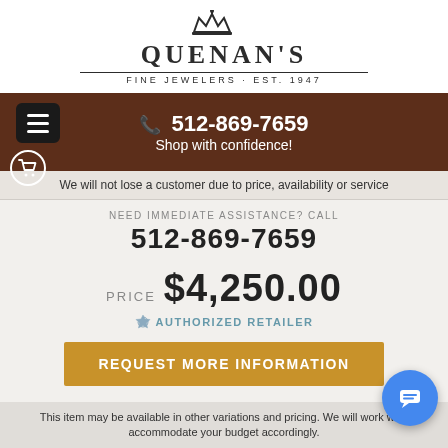[Figure (logo): Quenan's Fine Jewelers logo with crown icon, est. 1947]
512-869-7659 Shop with confidence!
We will not lose a customer due to price, availability or service
NEED IMMEDIATE ASSISTANCE? CALL 512-869-7659
PRICE $4,250.00
AUTHORIZED RETAILER
REQUEST MORE INFORMATION
This item may be available in other variations and pricing. We will work with you to accommodate your budget accordingly.
ADD TO WISHLIST
EMAIL THIS ITEM